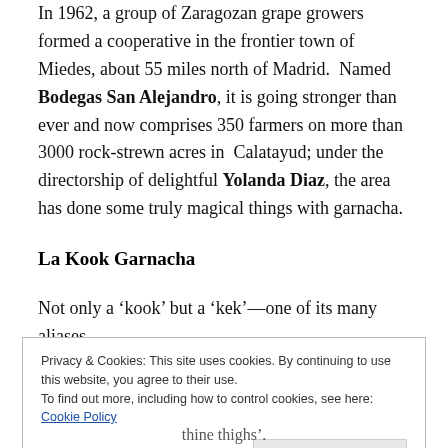In 1962, a group of Zaragozan grape growers formed a cooperative in the frontier town of Miedes, about 55 miles north of Madrid. Named Bodegas San Alejandro, it is going stronger than ever and now comprises 350 farmers on more than 3000 rock-strewn acres in Calatayud; under the directorship of delightful Yolanda Diaz, the area has done some truly magical things with garnacha.
La Kook Garnacha
Not only a ‘kook’ but a ‘kek’—one of its many aliases.
[Figure (photo): Partial photograph, mostly obscured by cookie banner overlay]
Privacy & Cookies: This site uses cookies. By continuing to use this website, you agree to their use.
To find out more, including how to control cookies, see here: Cookie Policy
thine thighs’.